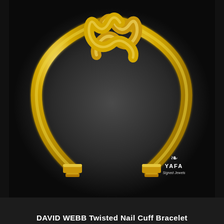[Figure (photo): Gold David Webb Twisted Nail Cuff Bracelet photographed against a dark black background with a subtle radial gradient highlight. The bracelet is an open cuff style with two twisted rope-like strands meeting in a knot at the top center, and two nail-head ends at the bottom opening. A YAFA Signed Jewels logo with a crown/fleur-de-lis emblem appears in the lower right corner of the image.]
DAVID WEBB Twisted Nail Cuff Bracelet